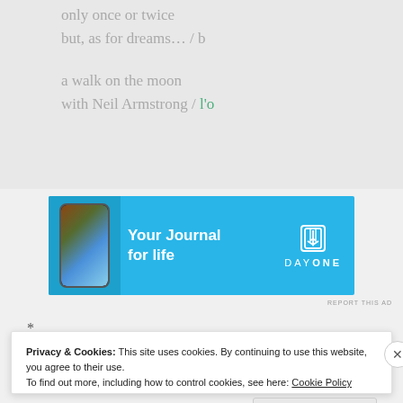only once or twice
but, as for dreams… / b
a walk on the moon
with Neil Armstrong / l'o
[Figure (illustration): Day One journal app advertisement banner with phone mockup showing 'Your Journal for life' and DayOne logo]
REPORT THIS AD
*
Privacy & Cookies: This site uses cookies. By continuing to use this website, you agree to their use.
To find out more, including how to control cookies, see here: Cookie Policy
Close and accept